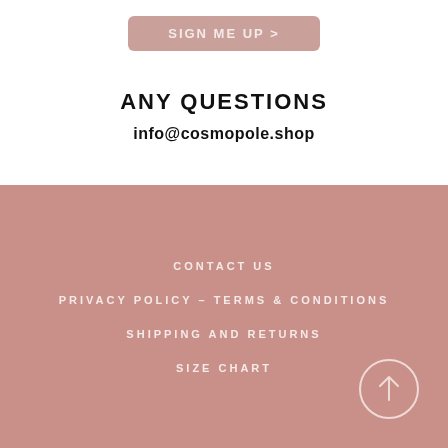[Figure (other): Pink rounded button labeled SIGN ME UP >]
ANY QUESTIONS
info@cosmopole.shop
CONTACT US
PRIVACY POLICY – TERMS & CONDITIONS
SHIPPING AND RETURNS
SIZE CHART
[Figure (illustration): Circle with upward arrow icon for scroll to top]